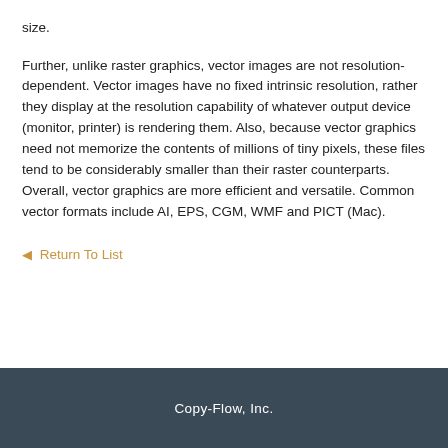size.
Further, unlike raster graphics, vector images are not resolution-dependent. Vector images have no fixed intrinsic resolution, rather they display at the resolution capability of whatever output device (monitor, printer) is rendering them. Also, because vector graphics need not memorize the contents of millions of tiny pixels, these files tend to be considerably smaller than their raster counterparts. Overall, vector graphics are more efficient and versatile. Common vector formats include AI, EPS, CGM, WMF and PICT (Mac).
◂ Return To List
Copy-Flow, Inc.